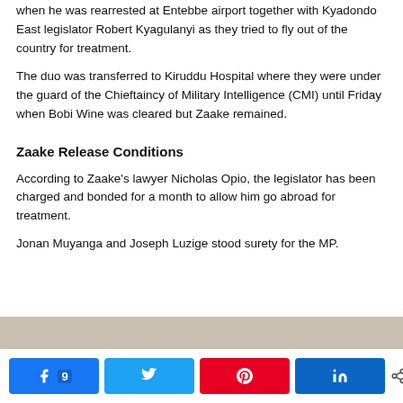when he was rearrested at Entebbe airport together with Kyadondo East legislator Robert Kyagulanyi as they tried to fly out of the country for treatment.
The duo was transferred to Kiruddu Hospital where they were under the guard of the Chieftaincy of Military Intelligence (CMI) until Friday when Bobi Wine was cleared but Zaake remained.
Zaake Release Conditions
According to Zaake’s lawyer Nicholas Opio, the legislator has been charged and bonded for a month to allow him go abroad for treatment.
Jonan Muyanga and Joseph Luzige stood surety for the MP.
[Figure (photo): Partial image strip visible at bottom of content area]
Share buttons: Facebook 9, Twitter, Pinterest, LinkedIn | 9 SHARES